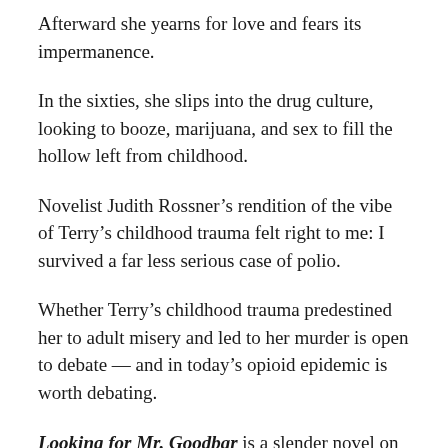Afterward she yearns for love and fears its impermanence.
In the sixties, she slips into the drug culture, looking to booze, marijuana, and sex to fill the hollow left from childhood.
Novelist Judith Rossner’s rendition of the vibe of Terry’s childhood trauma felt right to me: I survived a far less serious case of polio.
Whether Terry’s childhood trauma predestined her to adult misery and led to her murder is open to debate — and in today’s opioid epidemic is worth debating.
Looking for Mr. Goodbar is a slender novel on a serious topic, quickly read but not easily forgotten.